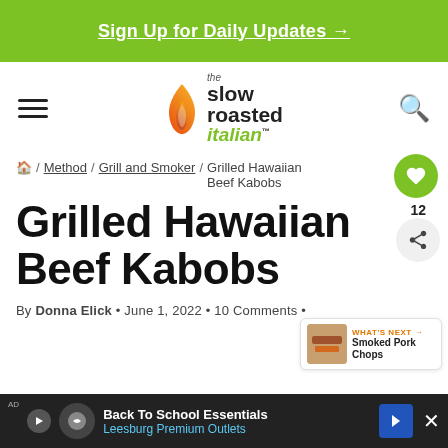Sign Up for Daily Updates →
[Figure (logo): The Slow Roasted Italian logo with flame icon, hamburger menu icon on left, search icon on right]
🏠 / Method / Grill and Smoker / Grilled Hawaiian Beef Kabobs
Grilled Hawaiian Beef Kabobs
WHAT'S NEXT → Smoked Pork Chops
By Donna Elick • June 1, 2022 • 10 Comments •
[Figure (screenshot): Advertisement bar at bottom: Back To School Essentials - Leesburg Premium Outlets]